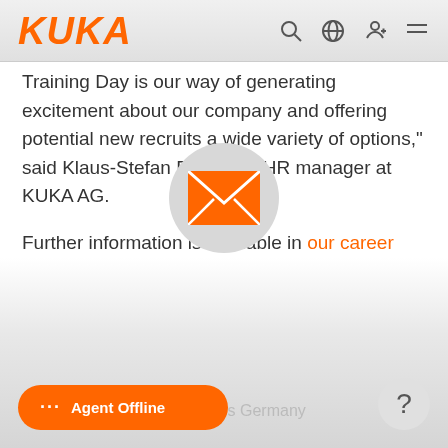KUKA
Training Day is our way of generating excitement about our company and offering potential new recruits a wide variety of options," said Klaus-Stefan Remmler, HR manager at KUKA AG.
Further information is available in our career center.
[Figure (illustration): Orange envelope icon on a light gray circular background]
orate Press Germany